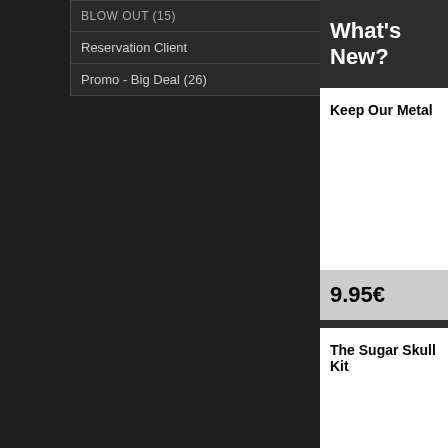BLOW OUT (15)
Reservation Client
Promo - Big Deal (26)
What's New?
Keep Our Metal
9.95€
The Sugar Skull Kit